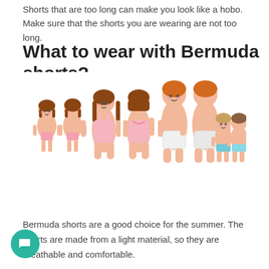Shorts that are too long can make you look like a hobo. Make sure that the shorts you are wearing are not too long.
What to wear with Bermuda shorts?
[Figure (illustration): Illustration of children and adults in various swimwear and underwear, shown from front and back views — two small girls in pink swimsuits/underwear, two teenage girls in pink swimsuits (front and back), two boys in white shorts (front and back), and two small boys in blue underwear (front and back).]
Bermuda shorts are a good choice for the summer. The shorts are made from a light material, so they are breathable and comfortable.
Bermuda shorts are also comfortable, so you can wear them with just about anything.